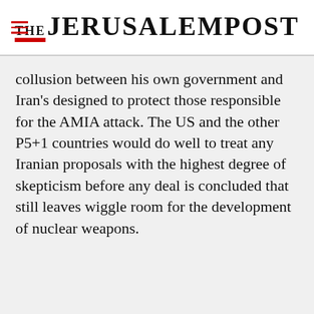THE JERUSALEM POST
collusion between his own government and Iran's designed to protect those responsible for the AMIA attack. The US and the other P5+1 countries would do well to treat any Iranian proposals with the highest degree of skepticism before any deal is concluded that still leaves wiggle room for the development of nuclear weapons.
Advertisement